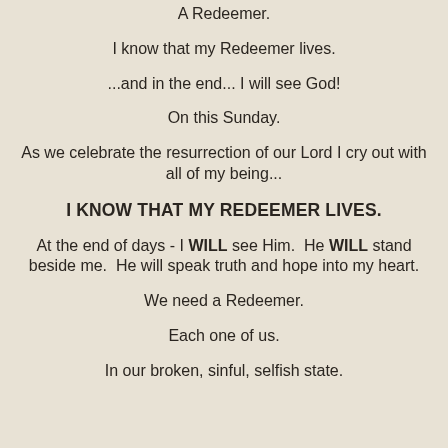A Redeemer.
I know that my Redeemer lives.
...and in the end... I will see God!
On this Sunday.
As we celebrate the resurrection of our Lord I cry out with all of my being...
I KNOW THAT MY REDEEMER LIVES.
At the end of days - I WILL see Him.  He WILL stand beside me.  He will speak truth and hope into my heart.
We need a Redeemer.
Each one of us.
In our broken, sinful, selfish state.